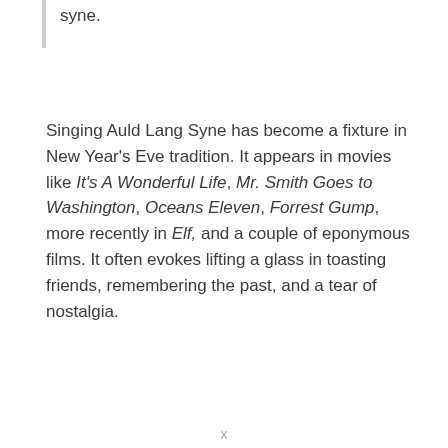syne.
Singing Auld Lang Syne has become a fixture in New Year's Eve tradition. It appears in movies like It's A Wonderful Life, Mr. Smith Goes to Washington, Oceans Eleven, Forrest Gump, more recently in Elf, and a couple of eponymous films. It often evokes lifting a glass in toasting friends, remembering the past, and a tear of nostalgia.
x